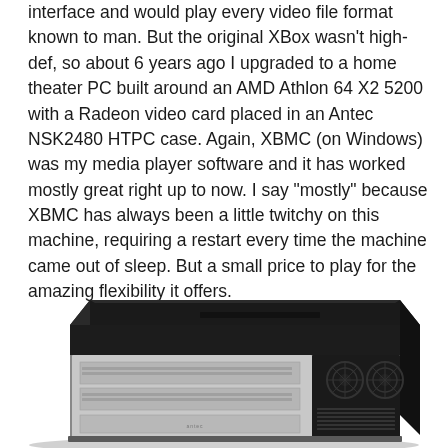interface and would play every video file format known to man. But the original XBox wasn't high-def, so about 6 years ago I upgraded to a home theater PC built around an AMD Athlon 64 X2 5200 with a Radeon video card placed in an Antec NSK2480 HTPC case. Again, XBMC (on Windows) was my media player software and it has worked mostly great right up to now. I say "mostly" because XBMC has always been a little twitchy on this machine, requiring a restart every time the machine came out of sleep. But a small price to play for the amazing flexibility it offers.
[Figure (photo): Photo of an Antec NSK2480 HTPC case — a flat, wide home theater PC enclosure with a black top panel, silver/aluminum front face with drive bays, and a black grille on the right side with visible fans.]